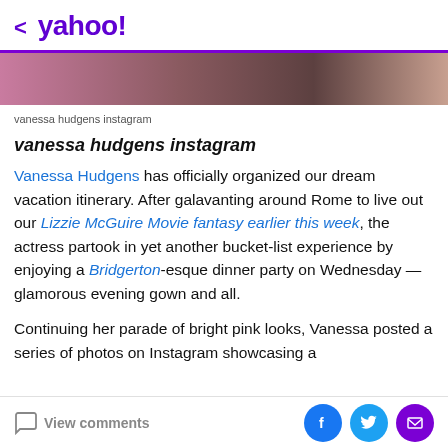< yahoo!
[Figure (photo): Partial photo strip of Vanessa Hudgens, pink and brown tones]
vanessa hudgens instagram
vanessa hudgens instagram
Vanessa Hudgens has officially organized our dream vacation itinerary. After galavanting around Rome to live out our Lizzie McGuire Movie fantasy earlier this week, the actress partook in yet another bucket-list experience by enjoying a Bridgerton-esque dinner party on Wednesday — glamorous evening gown and all.
Continuing her parade of bright pink looks, Vanessa posted a series of photos on Instagram showcasing a
View comments